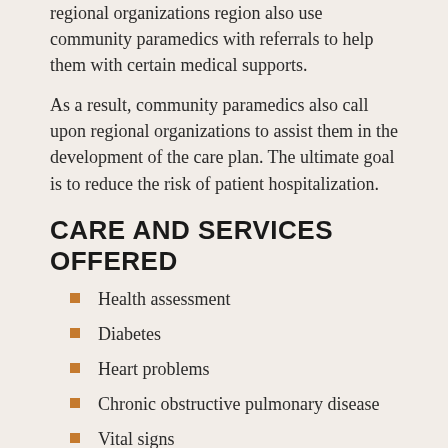regional organizations region also use community paramedics with referrals to help them with certain medical supports.
As a result, community paramedics also call upon regional organizations to assist them in the development of the care plan. The ultimate goal is to reduce the risk of patient hospitalization.
CARE AND SERVICES OFFERED
Health assessment
Diabetes
Heart problems
Chronic obstructive pulmonary disease
Vital signs
Environmental assessment
Risk assessment for falls